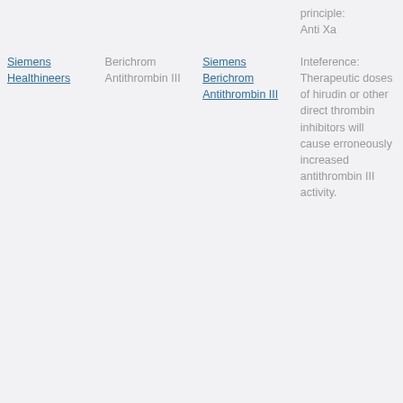| Siemens Healthineers | Berichrom Antithrombin III | Siemens Berichrom Antithrombin III |  |
| --- | --- | --- | --- |
|  |  |  | principle: Anti Xa |
| Siemens Healthineers | Berichrom Antithrombin III | Siemens Berichrom Antithrombin III | Inteference: Therapeutic doses of hirudin or other direct thrombin inhibitors will cause erroneously increased antithrombin III activity. |
|  |  |  | Reagent: Liquid |
|  |  |  | Method: Chromogenic |
|  |  |  | Assay principle: Anti Xa |
|  |  |  | Interference |